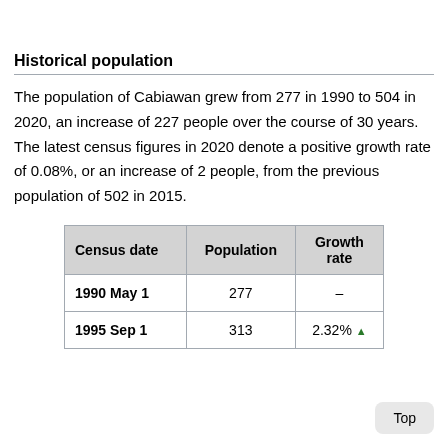Historical population
The population of Cabiawan grew from 277 in 1990 to 504 in 2020, an increase of 227 people over the course of 30 years. The latest census figures in 2020 denote a positive growth rate of 0.08%, or an increase of 2 people, from the previous population of 502 in 2015.
| Census date | Population | Growth rate |
| --- | --- | --- |
| 1990 May 1 | 277 | – |
| 1995 Sep 1 | 313 | 2.32% ▲ |